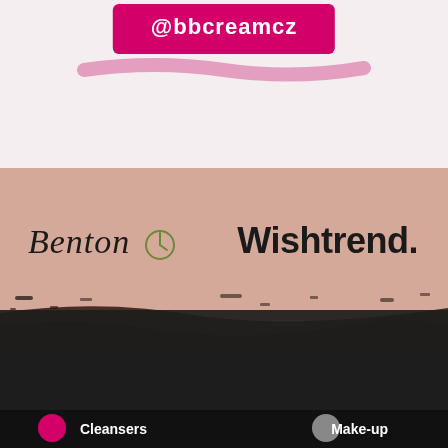@bbcreamcz
[Figure (logo): Benton skincare brand logo in italic serif script with a green circle accent]
[Figure (logo): Wishtrend brand logo in bold black sans-serif with period]
This website requires cookies as part of the services provided, by continuing to visit this website you agree to their use. See more information here.
Cleansers
Make-up